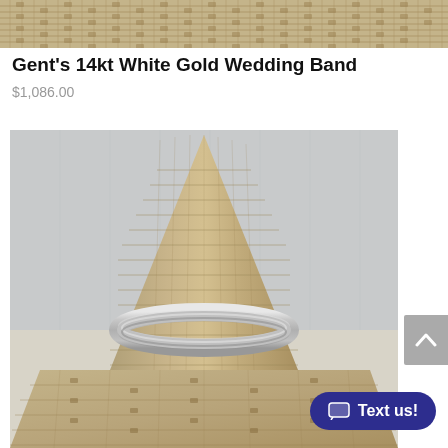[Figure (photo): Top portion of a burlap/woven fabric ring display stand, cropped at the top of the page]
Gent's 14kt White Gold Wedding Band
$1,086.00
[Figure (photo): A white gold wedding band ring displayed on a burlap/woven fabric cone-shaped ring display stand, photographed against a light grey background. The ring appears to be a matte/brushed finish silver-toned band.]